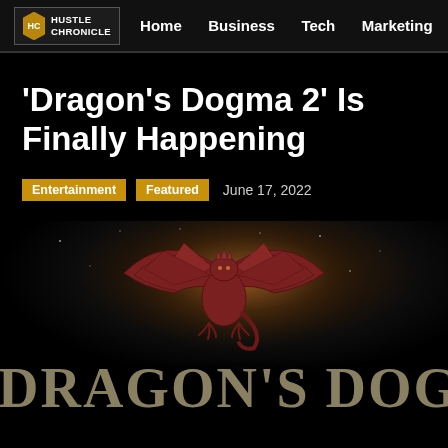Hustle Chronicle — Home  Business  Tech  Marketing
'Dragon's Dogma 2' Is Finally Happening
Entertainment  Featured  June 17, 2022
[Figure (illustration): Dragon's Dogma 2 promotional image showing a heraldic dragon logo above stylized fantasy lettering reading 'Dragon's Dogma' on a dark smoky background]